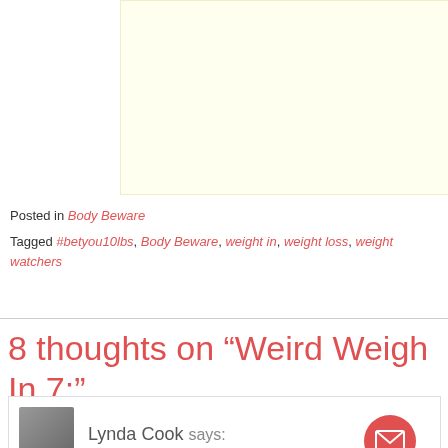[Figure (other): Advertisement placeholder box with light yellow background]
Posted in Body Beware
Tagged #betyou10lbs, Body Beware, weight in, weight loss, weight watchers
8 thoughts on “Weird Weigh In 7:”
Lynda Cook says: JUNE 24, 2015 AT 6:31 PM